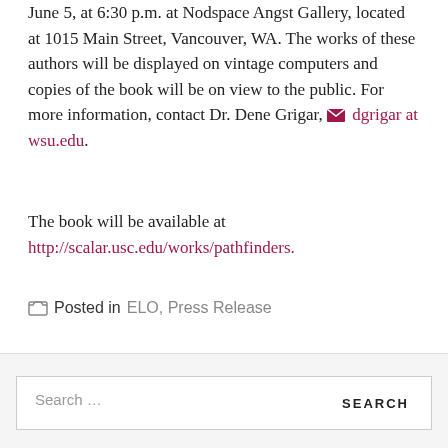June 5, at 6:30 p.m. at Nodspace Angst Gallery, located at 1015 Main Street, Vancouver, WA. The works of these authors will be displayed on vintage computers and copies of the book will be on view to the public. For more information, contact Dr. Dene Grigar, ✉ dgrigar at wsu.edu.
The book will be available at http://scalar.usc.edu/works/pathfinders.
Posted in ELO, Press Release